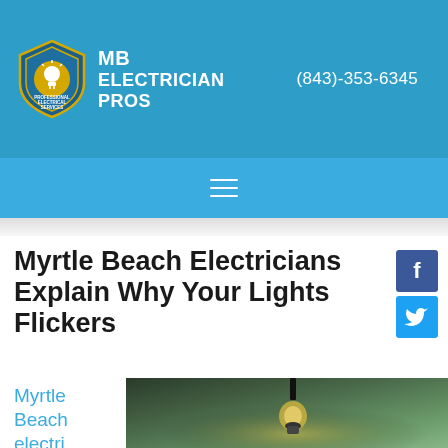MB Electrician Pros | (843)-353-6345
Myrtle Beach Electricians Explain Why Your Lights Flickers
by admin | Jan 20, 2020 | electrician | 0 comments
[Figure (photo): Pendant light bulb hanging in a dark green blurred background — preview image for article]